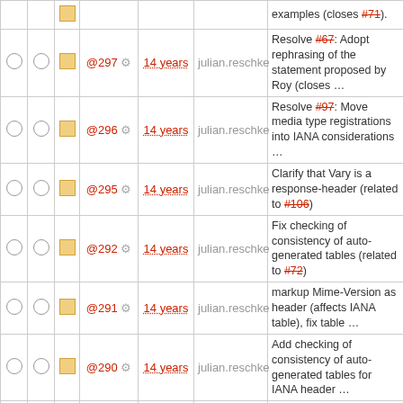|  |  |  | Rev | Age | Author | Description |
| --- | --- | --- | --- | --- | --- | --- |
|  |  |  | @297 | 14 years | julian.reschke | Resolve #67: Adopt rephrasing of the statement proposed by Roy (closes … |
|  |  |  | @296 | 14 years | julian.reschke | Resolve #97: Move media type registrations into IANA considerations … |
|  |  |  | @295 | 14 years | julian.reschke | Clarify that Vary is a response-header (related to #106) |
|  |  |  | @292 | 14 years | julian.reschke | Fix checking of consistency of auto-generated tables (related to #72) |
|  |  |  | @291 | 14 years | julian.reschke | markup Mime-Version as header (affects IANA table), fix table … |
|  |  |  | @290 | 14 years | julian.reschke | Add checking of consistency of auto-generated tables for IANA header … |
|  |  |  | @289 | 14 years | julian.reschke | Update ignore list (related to #72) |
|  |  |  | @288 | 14 years | julian.reschke | Add checking of consistency of auto-generated tables (related to #72) |
|  |  |  | @286 | 14 years | julian.reschke | Added safeness to method registration "template" (related to #72) |
|  |  |  | @284 | 14 years | julian.reschke | remove misplaced tag |
|  |  |  | @280 | 14 years | julian.reschke | Resolve #98: remove superfluous statement about |